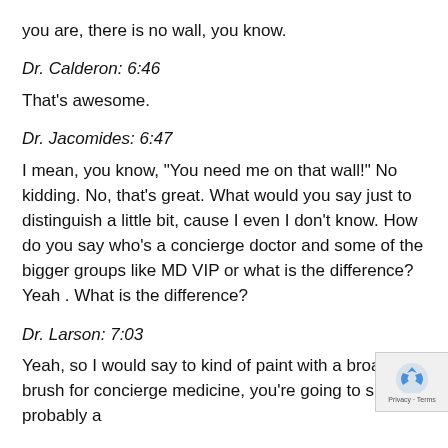you are, there is no wall, you know.
Dr. Calderon: 6:46
That's awesome.
Dr. Jacomides: 6:47
I mean, you know, "You need me on that wall!" No kidding. No, that's great. What would you say just to distinguish a little bit, cause I even I don't know. How do you say who's a concierge doctor and some of the bigger groups like MD VIP or what is the difference? Yeah . What is the difference?
Dr. Larson: 7:03
Yeah, so I would say to kind of paint with a broad brush for concierge medicine, you're going to sign probably a